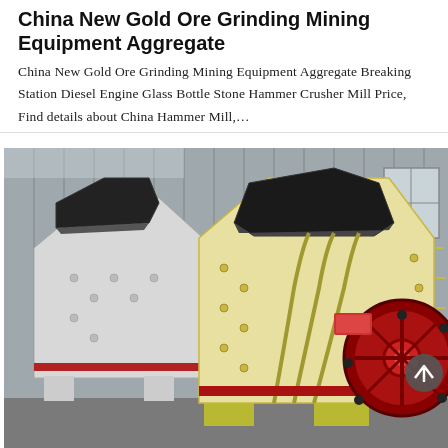China New Gold Ore Grinding Mining Equipment Aggregate
China New Gold Ore Grinding Mining Equipment Aggregate Breaking Station Diesel Engine Glass Bottle Stone Hammer Crusher Mill Price, Find details about China Hammer Mill,...
[Figure (photo): Photo of large yellow and white industrial hammer crusher mills with red flywheel wheels, parked in front of a grey corrugated metal industrial building. Two machines visible, the foreground one is yellow with red trim, showing a large flywheel. The background machine is white.]